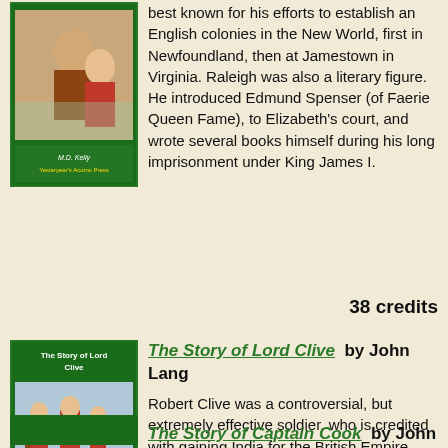[Figure (illustration): Book cover for a book by M.D. Kelly with illustration of historical figures]
best known for his efforts to establish an English colonies in the New World, first in Newfoundland, then at Jamestown in Virginia. Raleigh was also a literary figure. He introduced Edmund Spenser (of Faerie Queen Fame), to Elizabeth's court, and wrote several books himself during his long imprisonment under King James I.
38 credits
[Figure (illustration): Book cover for The Story of Lord Clive by John Lang, showing soldiers in red coats]
The Story of Lord Clive  by John Lang
Robert Clive was a controversial, but extremely effective soldier, who is credited with gaining India for the British Empire. Though he started his career as a mere clerk for the East India Company, he was thrust into a series of adventures during which he showed extraordinary daring, and military genius. He made a great name for himself, and through a series of astounding victories, secured a foothold in several of the most important provinces of India.
32 credits
The Story of Captain Cook  by John